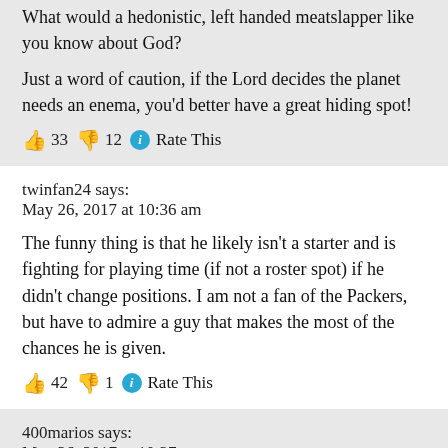What would a hedonistic, left handed meatslapper like you know about God?

Just a word of caution, if the Lord decides the planet needs an enema, you'd better have a great hiding spot!
👍 33 👎 12 ℹ Rate This
twinfan24 says:
May 26, 2017 at 10:36 am
The funny thing is that he likely isn't a starter and is fighting for playing time (if not a roster spot) if he didn't change positions. I am not a fan of the Packers, but have to admire a guy that makes the most of the chances he is given.
👍 42 👎 1 ℹ Rate This
400marios says:
May 26, 2017 at 10:37 am